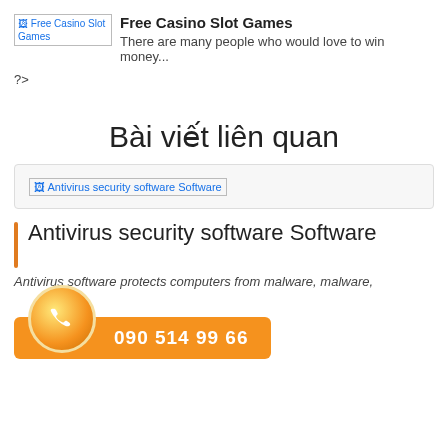[Figure (screenshot): Broken image placeholder for 'Free Casino Slot Games' with blue link text]
Free Casino Slot Games
There are many people who would love to win money...
?>
Bài viết liên quan
[Figure (screenshot): Broken image placeholder for 'Antivirus security software Software']
Antivirus security software Software
Antivirus software protects computers from malware, malware,
090 514 99 66